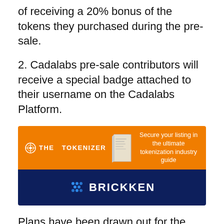of receiving a 20% bonus of the tokens they purchased during the pre-sale.
2. Cadalabs pre-sale contributors will receive a special badge attached to their username on the Cadalabs Platform.
[Figure (infographic): Advertisement banner. Top half: orange background with 'THE TOKENIZER' logo on the left, a book image in the center, and text 'Secure your listing in the ultimate tokenization industry guide' on the right. Bottom half: dark navy background with 'BRICKKEN' logo centered.]
Plans have been drawn out for the first movers, and this advantage is very necessary when it comes to social networks, and the project team is working hard to see that investors who participates in the